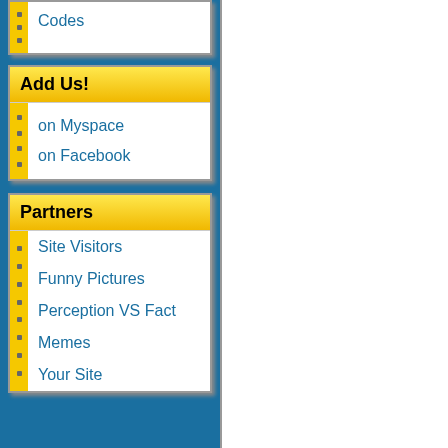Codes
Add Us!
on Myspace
on Facebook
Partners
Site Visitors
Funny Pictures
Perception VS Fact
Memes
Your Site